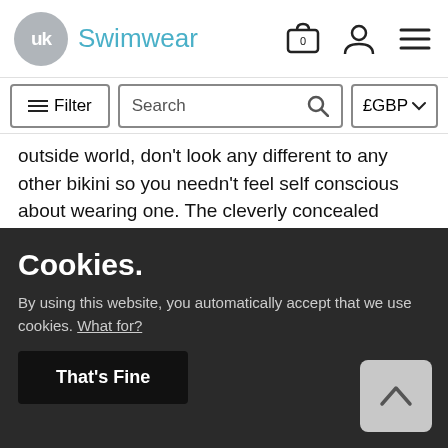UK Swimwear
outside world, don't look any different to any other bikini so you needn't feel self conscious about wearing one. The cleverly concealed padding is engineered in such a way that all it does is give your breasts a fuller and more rounded appearance. Certain styles can give the appearance of adding an extra cup size whilst others may just make your breasts seem a little perkier than usual
Cookies.
By using this website, you automatically accept that we use cookies. What for?
That's Fine